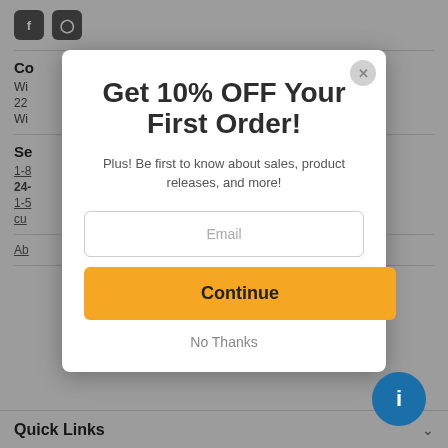[Figure (screenshot): Background website page with social media icons, contact section text, service info links, and Quick Links section footer]
Get 10% OFF Your First Order!
Plus! Be first to know about sales, product releases, and more!
Email
Continue
No Thanks